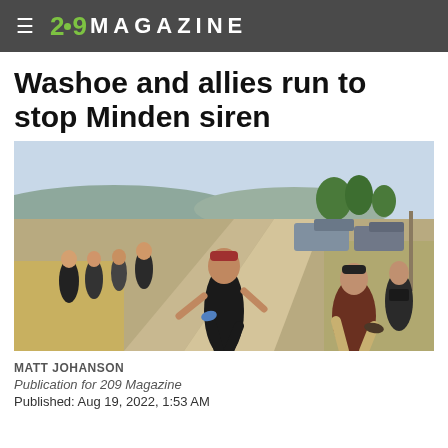≡ 2·9 MAGAZINE
Washoe and allies run to stop Minden siren
[Figure (photo): Group of people running and walking down a gravel road in a sunny, semi-arid landscape with mountains in the background, parked vehicles visible on the right side.]
MATT JOHANSON
Publication for 209 Magazine
Published: Aug 19, 2022, 1:53 AM